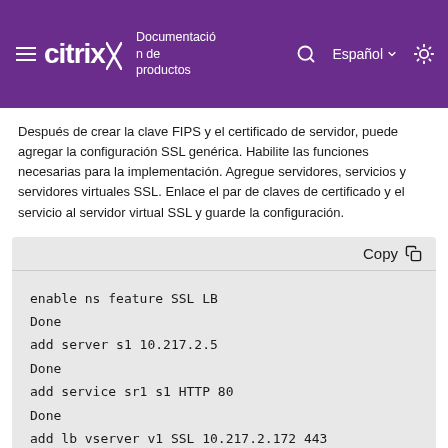Citrix — Documentación de productos — Español
Después de crear la clave FIPS y el certificado de servidor, puede agregar la configuración SSL genérica. Habilite las funciones necesarias para la implementación. Agregue servidores, servicios y servidores virtuales SSL. Enlace el par de claves de certificado y el servicio al servidor virtual SSL y guarde la configuración.
[Figure (screenshot): Code block with Copy button showing NetScaler CLI commands: enable ns feature SSL LB, Done, add server s1 10.217.2.5, Done, add service sr1 s1 HTTP 80, Done, add lb vserver v1 SSL 10.217.2.172 443]